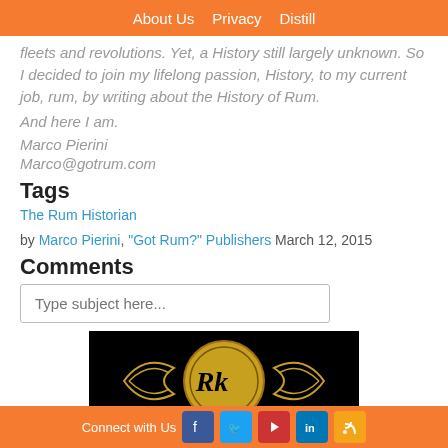About Us   Privacy   Distill
fleets and revolutions. Yet, a History still largely unknown. So I decided to join my lifelong passion, History, to my current job, rum, by writing about the History of Rum.
And here I am.
Marco Pierini
Marco@gotrum.com
Tags
The Rum Historian
by Marco Pierini, "Got Rum?" Publishers March 12, 2015
Comments
Type subject here...
[Figure (logo): Circular golden logo with ornate scrollwork and initials 'Rk' on black background]
Connect with Us [Facebook] [Twitter] [YouTube] [LinkedIn] [RSS]